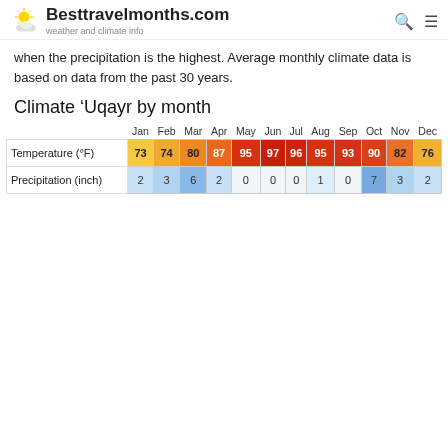Besttravelmonths.com — weather and climate info
when the precipitation is the highest. Average monthly climate data is based on data from the past 30 years.
Climate 'Uqayr by month
|  | Jan | Feb | Mar | Apr | May | Jun | Jul | Aug | Sep | Oct | Nov | Dec |
| --- | --- | --- | --- | --- | --- | --- | --- | --- | --- | --- | --- | --- |
| Temperature (°F) | 73 | 74 | 80 | 87 | 95 | 97 | 96 | 95 | 93 | 90 | 82 | 76 |
| Precipitation (inch) | 2 | 3 | 6 | 2 | 0 | 0 | 0 | 1 | 0 | 7 | 3 | 2 |